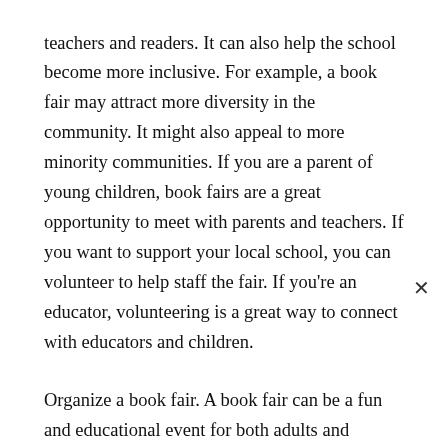teachers and readers. It can also help the school become more inclusive. For example, a book fair may attract more diversity in the community. It might also appeal to more minority communities. If you are a parent of young children, book fairs are a great opportunity to meet with parents and teachers. If you want to support your local school, you can volunteer to help staff the fair. If you're an educator, volunteering is a great way to connect with educators and children.
Organize a book fair. A book fair can be a fun and educational event for both adults and children.